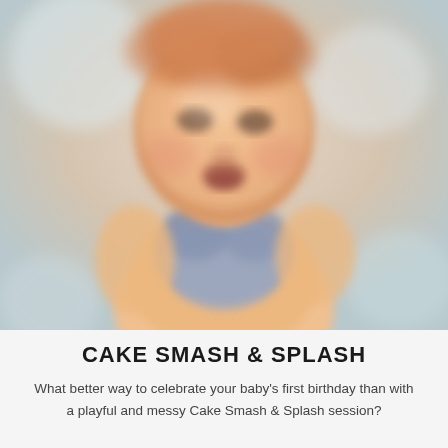[Figure (photo): A blurry close-up photo of a baby with reddish hair, smiling, wearing a blue bib or outfit, against a light blurred background.]
CAKE SMASH & SPLASH
What better way to celebrate your baby's first birthday than with a playful and messy Cake Smash & Splash session?